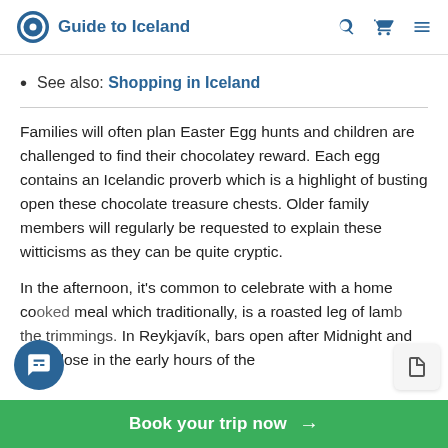Guide to Iceland
See also: Shopping in Iceland
Families will often plan Easter Egg hunts and children are challenged to find their chocolatey reward. Each egg contains an Icelandic proverb which is a highlight of busting open these chocolate treasure chests. Older family members will regularly be requested to explain these witticisms as they can be quite cryptic.
In the afternoon, it's common to celebrate with a home cooked meal which traditionally, is a roasted leg of lamb the trimmings. In Reykjavík, bars open after Midnight and only close in the early hours of the
Book your trip now →